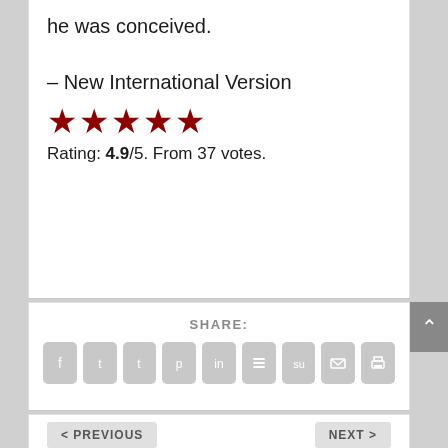he was conceived.
– New International Version
[Figure (other): Five red star rating icons]
Rating: 4.9/5. From 37 votes.
SHARE:
[Figure (other): Row of social media share icon buttons: Facebook, Twitter, Tumblr, Pinterest, LinkedIn, Buffer, StumbleUpon, Email, Print]
< PREVIOUS
NEXT >